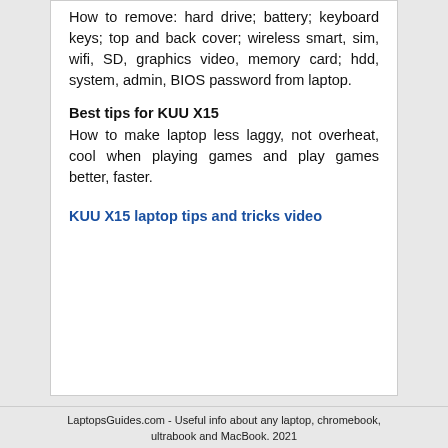How to remove: hard drive; battery; keyboard keys; top and back cover; wireless smart, sim, wifi, SD, graphics video, memory card; hdd, system, admin, BIOS password from laptop.
Best tips for KUU X15
How to make laptop less laggy, not overheat, cool when playing games and play games better, faster.
KUU X15 laptop tips and tricks video
LaptopsGuides.com - Useful info about any laptop, chromebook, ultrabook and MacBook. 2021